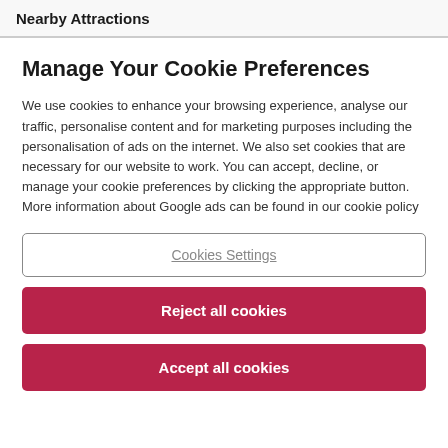Nearby Attractions
Manage Your Cookie Preferences
We use cookies to enhance your browsing experience, analyse our traffic, personalise content and for marketing purposes including the personalisation of ads on the internet. We also set cookies that are necessary for our website to work. You can accept, decline, or manage your cookie preferences by clicking the appropriate button. More information about Google ads can be found in our cookie policy
Cookies Settings
Reject all cookies
Accept all cookies